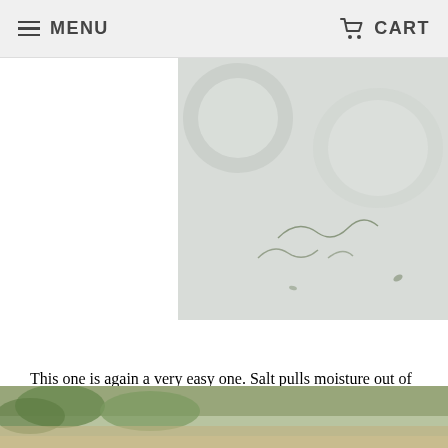MENU   CART
[Figure (photo): Overhead view of glass jars with salt and herbs on a white surface]
This one is again a very easy one. Salt pulls moisture out of substances, so mixing it with the tips is going to dry them into a preserved state. Simply layer Tips and Salt, making sure to use a generous amount of salt between layers. You can do this in an uncovered jar. I like to stir it around every few days to make sure the salt is covering everything. Once tips have been dried out by salt simply cover and store in a jar.
[Figure (photo): Close-up of fresh green herbs on a wooden surface]